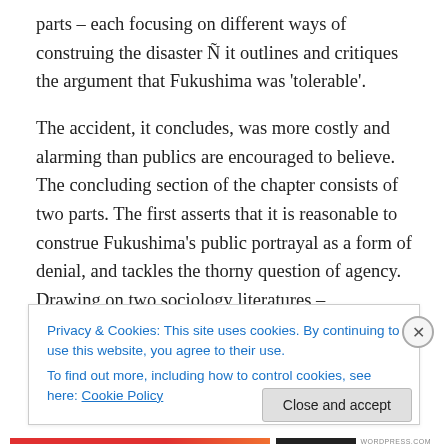parts – each focusing on different ways of construing the disaster Ñ it outlines and critiques the argument that Fukushima was 'tolerable'.
The accident, it concludes, was more costly and alarming than publics are encouraged to believe. The concluding section of the chapter consists of two parts. The first asserts that it is reasonable to construe Fukushima's public portrayal as a form of denial, and tackles the thorny question of agency. Drawing on two sociology literatures – 'Agnotology' and 'Science and Technology Studies' (STS) – it offers different perspectives on
Privacy & Cookies: This site uses cookies. By continuing to use this website, you agree to their use.
To find out more, including how to control cookies, see here: Cookie Policy